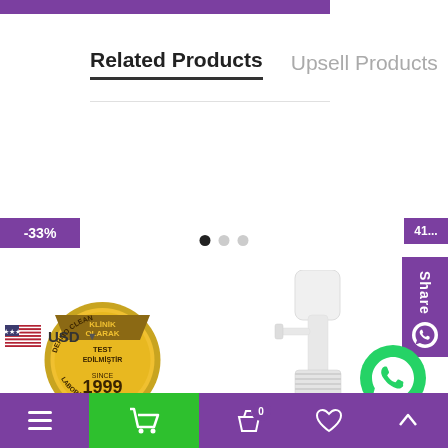Related Products   Upsell Products
-33%
[Figure (logo): Dermo Clean Laboratories gold seal badge with text: KLİNİK OLARAK TEST EDİLMİŞTİR, SINCE 1999]
[Figure (photo): White pump/spray bottle top portion of a product]
USD
Navigation toolbar with menu, cart, basket (0), heart, and up-arrow icons